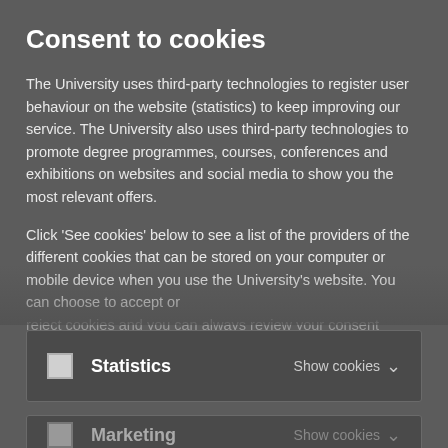Consent to cookies
The University uses third-party technologies to register user behaviour on the website (statistics) to keep improving our service. The University also uses third-party technologies to promote degree programmes, courses, conferences and exhibitions on websites and social media to show you the most relevant offers.
Click 'See cookies' below to see a list of the providers of the different cookies that can be stored on your computer or mobile device when you use the University's website. You can choose to accept or reject cookies and you can always review your consent
Statistics    Show cookies ∨
Marketing    Show cookies ∨